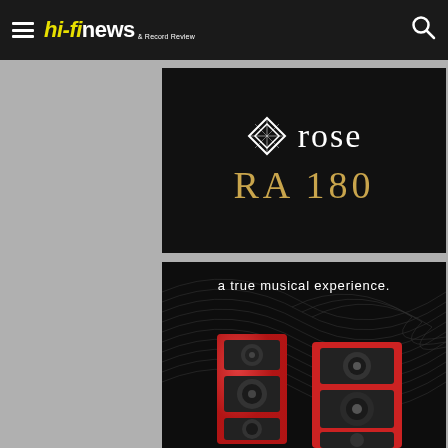hi-fi news & Record Review
[Figure (illustration): Rose RA 180 brand advertisement on black background with rose logo (diamond/gem icon) and product name 'rose RA 180' in white and gold text]
[Figure (photo): Advertisement showing red hi-fi speakers with tagline 'a true musical experience.' on dark background with wave pattern graphics]